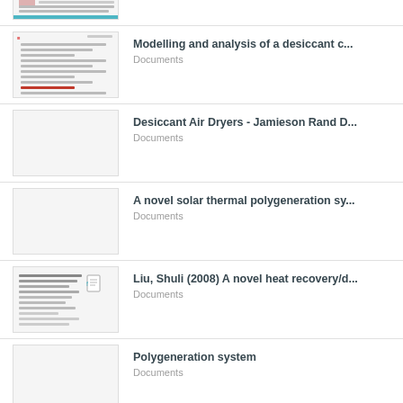[Figure (screenshot): Partial thumbnail of a document at top of page, cropped]
Modelling and analysis of a desiccant c...
Documents
Desiccant Air Dryers - Jamieson Rand D...
Documents
A novel solar thermal polygeneration sy...
Documents
Liu, Shuli (2008) A novel heat recovery/d...
Documents
Polygeneration system
Documents